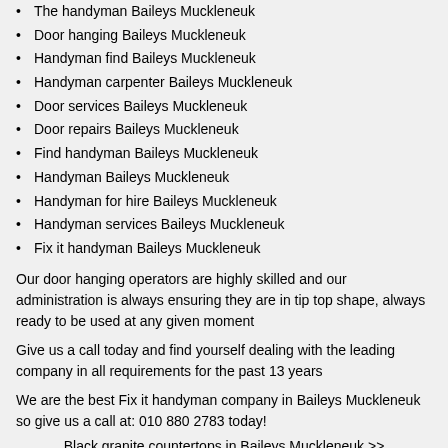The handyman Baileys Muckleneuk
Door hanging Baileys Muckleneuk
Handyman find Baileys Muckleneuk
Handyman carpenter Baileys Muckleneuk
Door services Baileys Muckleneuk
Door repairs Baileys Muckleneuk
Find handyman Baileys Muckleneuk
Handyman Baileys Muckleneuk
Handyman for hire Baileys Muckleneuk
Handyman services Baileys Muckleneuk
Fix it handyman Baileys Muckleneuk
Our door hanging operators are highly skilled and our administration is always ensuring they are in tip top shape, always ready to be used at any given moment
Give us a call today and find yourself dealing with the leading company in all requirements for the past 13 years
We are the best Fix it handyman company in Baileys Muckleneuk so give us a call at: 010 880 2783 today!
Black granite countertops in Baileys Muckleneuk >>
-> Fix it handyman in Darrenwood
-> Fix it handyman in Leeuwfontein
-> Fix it handyman in Weltevredenpark